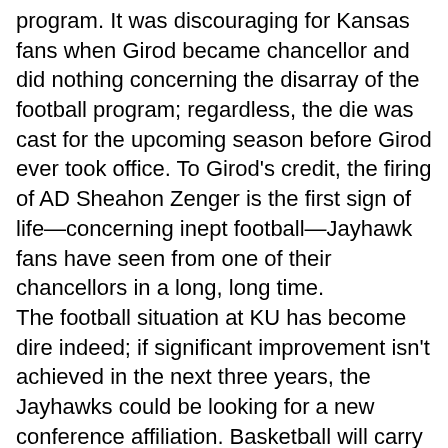program. It was discouraging for Kansas fans when Girod became chancellor and did nothing concerning the disarray of the football program; regardless, the die was cast for the upcoming season before Girod ever took office. To Girod's credit, the firing of AD Sheahon Zenger is the first sign of life—concerning inept football—Jayhawk fans have seen from one of their chancellors in a long, long time.
The football situation at KU has become dire indeed; if significant improvement isn't achieved in the next three years, the Jayhawks could be looking for a new conference affiliation. Basketball will carry the university just so far.
If Girod takes a hands-on approach hiring a new athletic director and proves to be successful in that endeavor, he will be the first president to hire a talented AD since well before the turn of the century. Monte Johnson was KU's last highly effective AD from 1982-1987.
Kansas will take the field this fall under Coach David